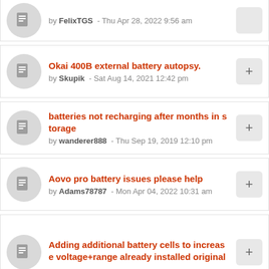by FelixTGS - Thu Apr 28, 2022 9:56 am
Okai 400B external battery autopsy. by Skupik - Sat Aug 14, 2021 12:42 pm
batteries not recharging after months in storage by wanderer888 - Thu Sep 19, 2019 12:10 pm
Aovo pro battery issues please help by Adams78787 - Mon Apr 04, 2022 10:31 am
Adding additional battery cells to increase voltage+range already installed original